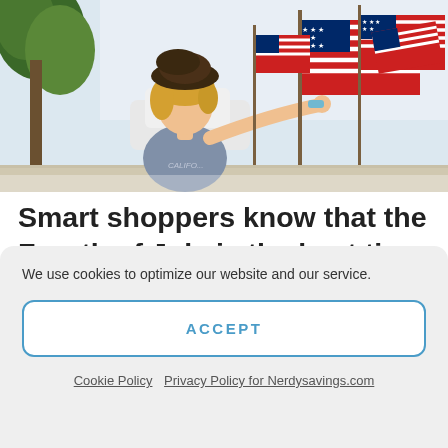[Figure (photo): A child wearing a brown wide-brim hat reaching toward a group of small American flags, outdoors with trees and bright sky in background.]
Smart shoppers know that the Fourth of July is the best time of the season to save on outdoor and indoor summer essentials – from electronics to patio furniture to grills to the season's most stylish
We use cookies to optimize our website and our service.
ACCEPT
Cookie Policy  Privacy Policy for Nerdysavings.com